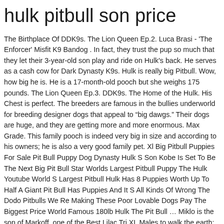hulk pitbull son price
The Birthplace Of DDK9s. The Lion Queen Ep.2. Luca Brasi - 'The Enforcer' Misfit K9 Bandog . In fact, they trust the pup so much that they let their 3-year-old son play and ride on Hulk's back. He serves as a cash cow for Dark Dynasty K9s. Hulk is really big Pitbull. Wow, how big he is. He is a 17-month-old pooch but she weighs 175 pounds. The Lion Queen Ep.3. DDK9s. The Home of the Hulk. His Chest is perfect. The breeders are famous in the bullies underworld for breeding designer dogs that appeal to “big dawgs.” Their dogs are huge, and they are getting more and more enormous. Max Grade. This family pooch is indeed very big in size and according to his owners; he is also a very good family pet. Xl Big Pitbull Puppies For Sale Pit Bull Puppy Dog Dynasty Hulk S Son Kobe Is Set To Be The Next Big Pit Bull Star Worlds Largest Pitbull Puppy The Hulk Youtube World S Largest Pitbull Hulk Has 8 Puppies Worth Up To Half A Giant Pit Bull Has Puppies And It S All Kinds Of Wrong The Dodo Pitbulls We Re Making These Poor Lovable Dogs Pay The Biggest Price World Famous 180lb Hulk The Pit Bull … Miklo is the son of Markoff, one of the Best Lilac Tri XL Males to walk the earth: We choose him as Hazels next date for a few reasons. Reset Close Update. MEET Kobe, son to giant pitbull, Hulk, who is